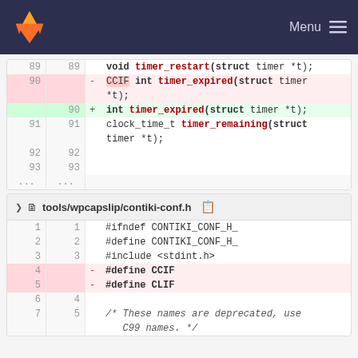Menu
[Figure (screenshot): Git diff view showing lines 89-93 of a C header file. Line 90 shows a deletion of 'CCIF int timer_expired(struct timer *t);' and an addition of 'int timer_expired(struct timer *t);'.]
tools/wpcapslip/contiki-conf.h
[Figure (screenshot): Git diff view of tools/wpcapslip/contiki-conf.h showing lines 1-7. Lines 4 and 5 are deleted (#define CCIF and #define CLIF). Lines 6-7 show remaining content and a deprecated names comment.]